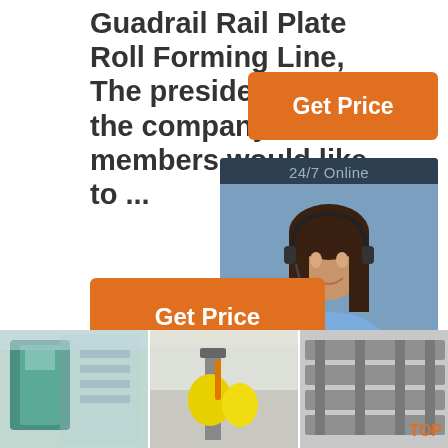Guadrail Rail Plate Roll Forming Line, The president and all the company members would like to ...
[Figure (screenshot): Orange 'Get Price' button (top right)]
[Figure (infographic): 24/7 Online panel with customer service agent photo and 'Click here for free chat! QUOTATION' button]
[Figure (screenshot): Orange 'Get Price' button (bottom left)]
[Figure (photo): Three industrial machinery photos side by side at the bottom of the page]